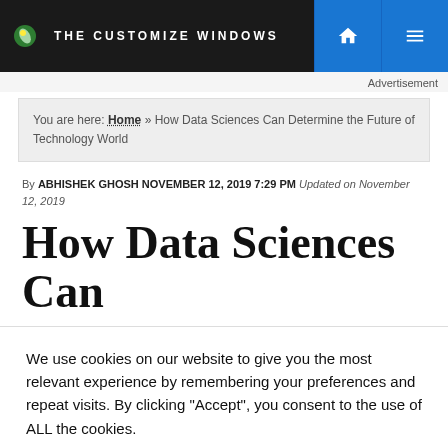THE CUSTOMIZE WINDOWS
Advertisement
You are here: Home » How Data Sciences Can Determine the Future of Technology World
By ABHISHEK GHOSH NOVEMBER 12, 2019 7:29 PM Updated on November 12, 2019
How Data Sciences Can
We use cookies on our website to give you the most relevant experience by remembering your preferences and repeat visits. By clicking “Accept”, you consent to the use of ALL the cookies.
Do not sell my personal information.